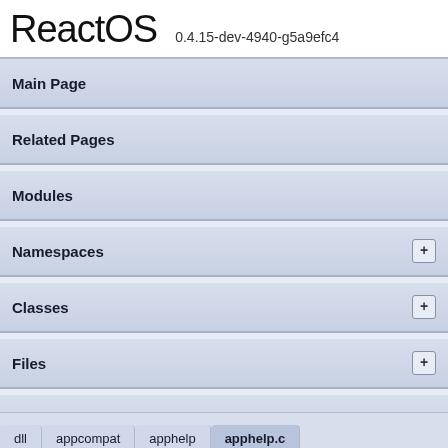ReactOS 0.4.15-dev-4940-g5a9efc4
Main Page
Related Pages
Modules
Namespaces
Classes
Files
Examples
apphelp.c
dll > appcompat > apphelp > apphelp.c